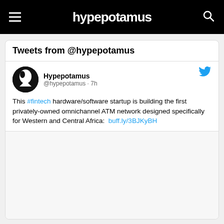hypepotamus
Tweets from @hypepotamus
Hypepotamus @hypepotamus · 7h
This #fintech hardware/software startup is building the first privately-owned omnichannel ATM network designed specifically for Western and Central Africa: buff.ly/3BJKyBH
[Figure (screenshot): Blank/white image area below the tweet content]